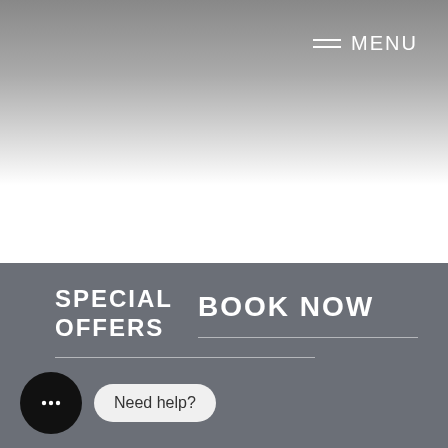MENU
[Figure (screenshot): White/grey gradient hero area occupying the top portion of the page]
SPECIAL OFFERS
BOOK NOW
Need help?